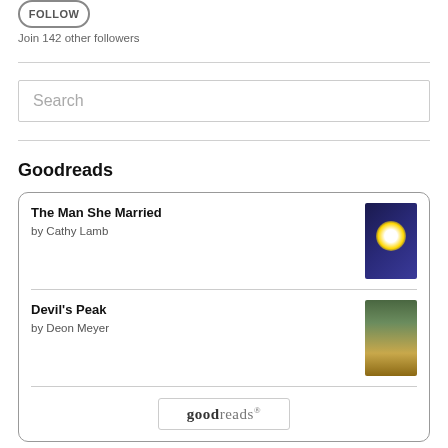[Figure (other): Follow button — rounded rectangle button]
Join 142 other followers
Search
Goodreads
[Figure (other): Goodreads widget showing two books: 'The Man She Married by Cathy Lamb' and 'Devil's Peak by Deon Meyer', with book cover thumbnails and a goodreads logo at bottom.]